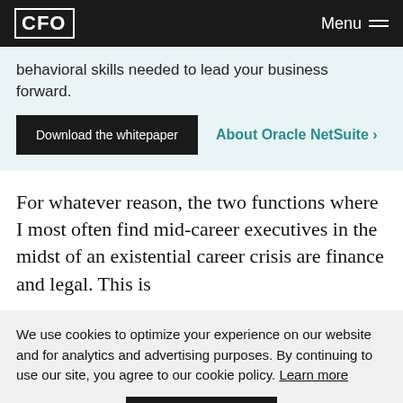CFO | Menu
behavioral skills needed to lead your business forward.
Download the whitepaper
About Oracle NetSuite >
For whatever reason, the two functions where I most often find mid-career executives in the midst of an existential career crisis are finance and legal. This is
We use cookies to optimize your experience on our website and for analytics and advertising purposes. By continuing to use our site, you agree to our cookie policy. Learn more
Got it!